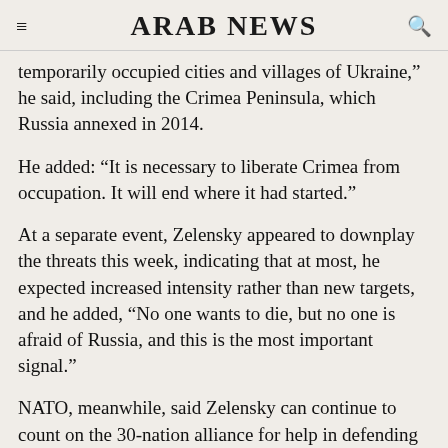ARAB NEWS
temporarily occupied cities and villages of Ukraine,” he said, including the Crimea Peninsula, which Russia annexed in 2014.
He added: “It is necessary to liberate Crimea from occupation. It will end where it had started.”
At a separate event, Zelensky appeared to downplay the threats this week, indicating that at most, he expected increased intensity rather than new targets, and he added, “No one wants to die, but no one is afraid of Russia, and this is the most important signal.”
NATO, meanwhile, said Zelensky can continue to count on the 30-nation alliance for help in defending itself in what Secretary Gen and Jen...